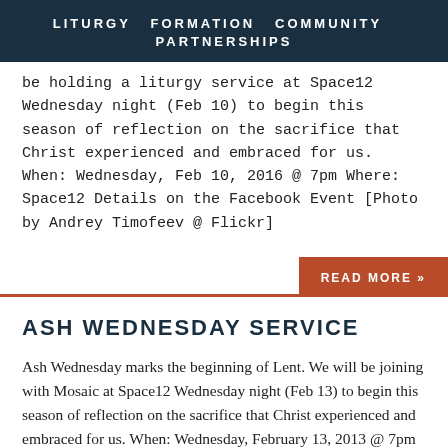LITURGY  FORMATION  COMMUNITY  PARTNERSHIPS
be holding a liturgy service at Space12 Wednesday night (Feb 10) to begin this season of reflection on the sacrifice that Christ experienced and embraced for us. When: Wednesday, Feb 10, 2016 @ 7pm Where: Space12 Details on the Facebook Event [Photo by Andrey Timofeev @ Flickr]
READ MORE »
ASH WEDNESDAY SERVICE
Ash Wednesday marks the beginning of Lent. We will be joining with Mosaic at Space12 Wednesday night (Feb 13) to begin this season of reflection on the sacrifice that Christ experienced and embraced for us. When: Wednesday, February 13, 2013 @ 7pm Whe...